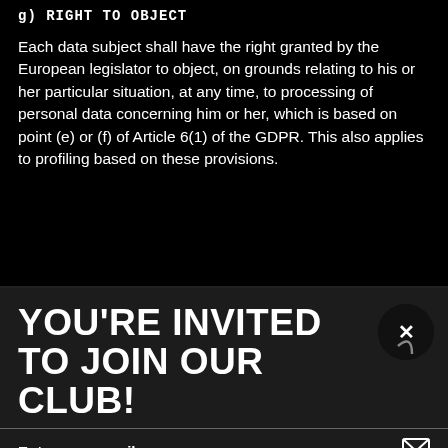g) RIGHT TO OBJECT
Each data subject shall have the right granted by the European legislator to object, on grounds relating to his or her particular situation, at any time, to processing of personal data concerning him or her, which is based on point (e) or (f) of Article 6(1) of the GDPR. This also applies to profiling based on these provisions.
YOU'RE INVITED TO JOIN OUR CLUB!
Insider info on the latest esports s**t.
Enter your email